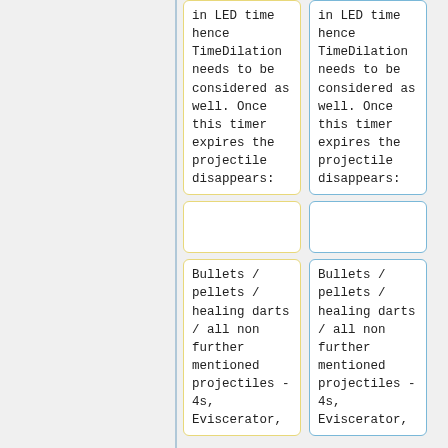in LED time hence TimeDilation needs to be considered as well. Once this timer expires the projectile disappears:
in LED time hence TimeDilation needs to be considered as well. Once this timer expires the projectile disappears:
Bullets / pellets / healing darts / all non further mentioned projectiles - 4s, Eviscerator,
Bullets / pellets / healing darts / all non further mentioned projectiles - 4s, Eviscerator,